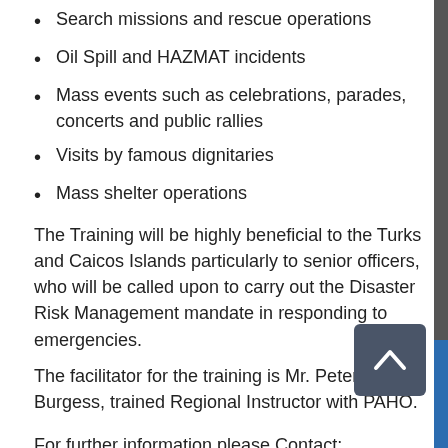Search missions and rescue operations
Oil Spill and HAZMAT incidents
Mass events such as celebrations, parades, concerts and public rallies
Visits by famous dignitaries
Mass shelter operations
The Training will be highly beneficial to the Turks and Caicos Islands particularly to senior officers, who will be called upon to carry out the Disaster Risk Management mandate in responding to emergencies.
The facilitator for the training is Mr. Peter Burgess, trained Regional Instructor with PAHO.
For further information please Contact:
Andrea Been
Email Address: ASBeen@gov.tc
Telephone #: 649 946 2801 Extension 3672 or 649338 3672
Facebook: https://www.facebook.com/TCI.DDME